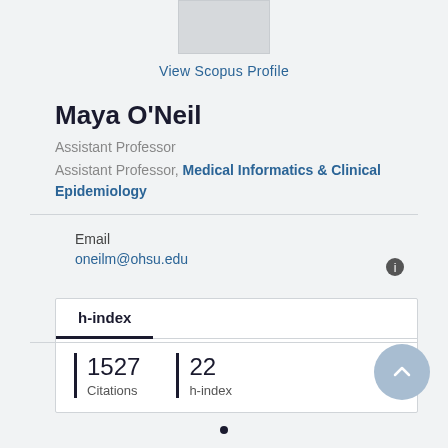[Figure (photo): Partial profile photo placeholder, light gray rectangle]
View Scopus Profile
Maya O'Neil
Assistant Professor
Assistant Professor, Medical Informatics & Clinical Epidemiology
Email
oneilm@ohsu.edu
h-index
1527
Citations
22
h-index